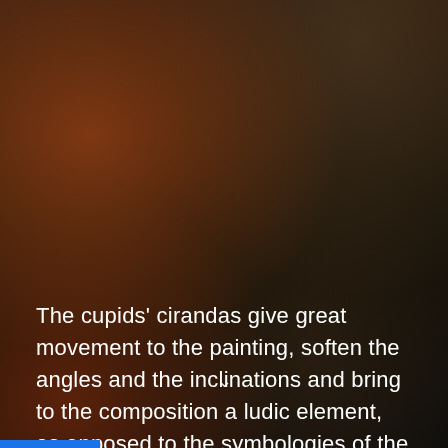[Figure (photo): Dark warm-toned blurred background with brownish-red radial glow on the left and darker olive-brown tones on the right, resembling a blurred painting or atmospheric background.]
The cupids' cirandas give great movement to the painting, soften the angles and the inclinations and bring to the composition a ludic element, as opposed to the symbologies of the war that involve Mars.